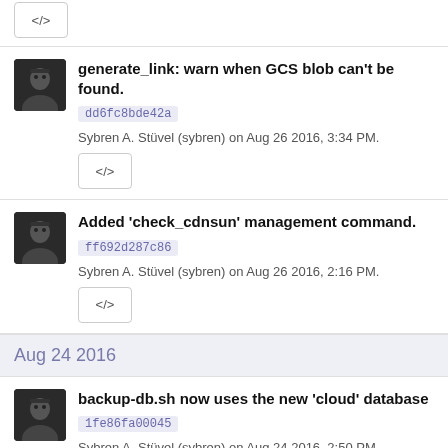</>
generate_link: warn when GCS blob can't be found.
dd6fc8bde42a
Sybren A. Stüvel (sybren) on Aug 26 2016, 3:34 PM.
</>
Added 'check_cdnsun' management command.
ff692d287c86
Sybren A. Stüvel (sybren) on Aug 26 2016, 2:16 PM.
</>
Aug 24 2016
backup-db.sh now uses the new 'cloud' database
1fe86fa00045
Sybren A. Stüvel (sybren) on Aug 24 2016, 2:50 PM.